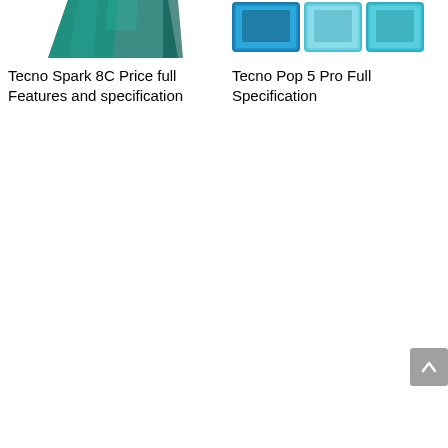[Figure (photo): Partial image of Tecno Spark 8C smartphone showing device at top-left]
[Figure (photo): Partial image of Tecno Pop 5 Pro smartphones in multiple colors at top-right]
Tecno Spark 8C Price full Features and specification
Tecno Pop 5 Pro Full Specification